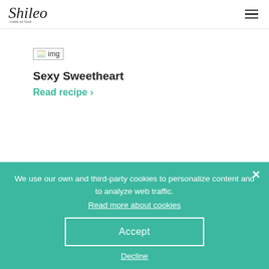[Figure (logo): Shileo brand logo in italic script font with small tagline text below]
[Figure (other): Hamburger menu icon with three horizontal lines]
[Figure (photo): Broken image placeholder labeled img]
Sexy Sweetheart
Read recipe ›
We use our own and third-party cookies to personalize content and to analyze web traffic.
Read more about cookies
Accept
Decline